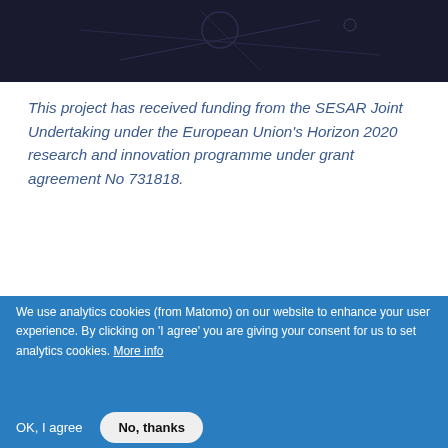[Figure (photo): Dark background image strip at the top of the page, appears to show an abstract or map-like design in dark tones.]
This project has received funding from the SESAR Joint Undertaking under the European Union's Horizon 2020 research and innovation programme under grant agreement No 731818.
More on DIGITS
We use analytics cookies (from Matomo) on our website to enhance your user experience. By clicking on 'I agree' you are giving your consent for us to set analytics cookies. More info
OK, I agree
No, thanks